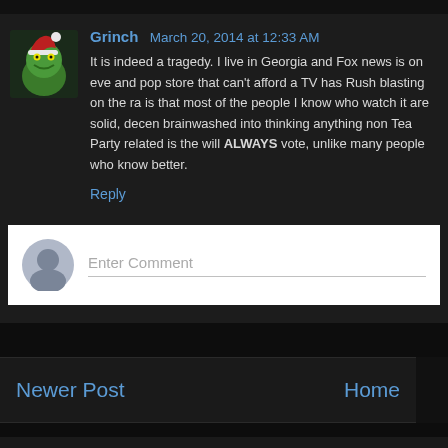Grinch March 20, 2014 at 12:33 AM
It is indeed a tragedy. I live in Georgia and Fox news is on eve and pop store that can't afford a TV has Rush blasting on the ra is that most of the people I know who watch it are solid, decent brainwashed into thinking anything non Tea Party related is the will ALWAYS vote, unlike many people who know better.
Reply
Enter Comment
Newer Post
Home
Subscribe to: Post Comments (A